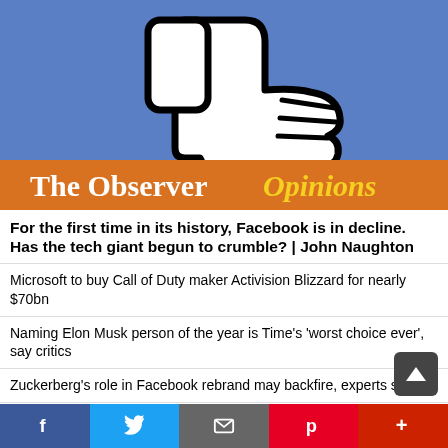[Figure (illustration): Blue background with a large white thumbs-down icon with black outline. Orange banner at bottom reads 'The Observer Opinions' in white and yellow bold serif text.]
For the first time in its history, Facebook is in decline. Has the tech giant begun to crumble? | John Naughton
Microsoft to buy Call of Duty maker Activision Blizzard for nearly $70bn
Naming Elon Musk person of the year is Time's 'worst choice ever', say critics
Zuckerberg's role in Facebook rebrand may backfire, experts say
f  🐦  ✉  p  +